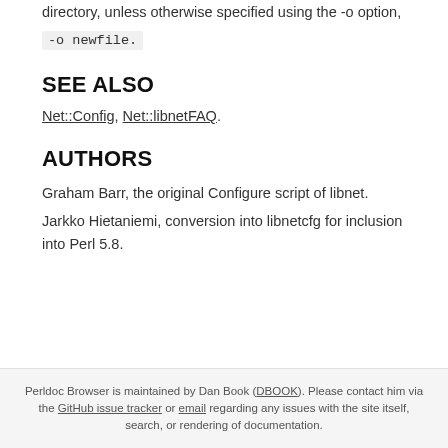directory, unless otherwise specified using the -o option,
-o newfile.
SEE ALSO
Net::Config, Net::libnetFAQ
AUTHORS
Graham Barr, the original Configure script of libnet.
Jarkko Hietaniemi, conversion into libnetcfg for inclusion into Perl 5.8.
Perldoc Browser is maintained by Dan Book (DBOOK). Please contact him via the GitHub issue tracker or email regarding any issues with the site itself, search, or rendering of documentation.